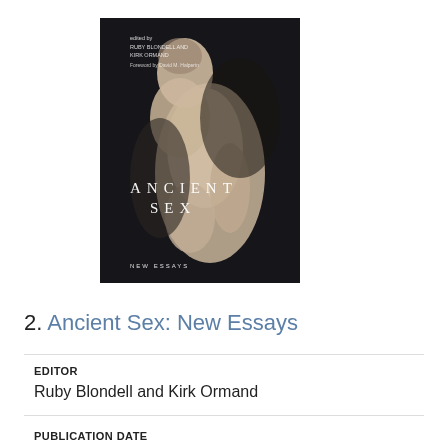[Figure (photo): Book cover of 'Ancient Sex: New Essays' showing a classical sculpture on a dark background with the title text overlaid in white]
2. Ancient Sex: New Essays
EDITOR
Ruby Blondell and Kirk Ormand
PUBLICATION DATE
2015